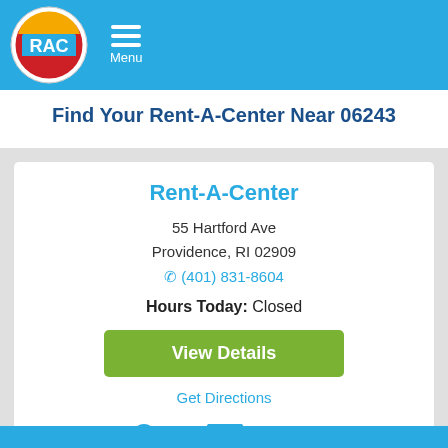RAC Rent-A-Center logo and Menu
Find Your Rent-A-Center Near 06243
Rent-A-Center
55 Hartford Ave
Providence, RI 02909
(401) 831-8604
Hours Today: Closed
View Details
Get Directions
Map  Details  Call